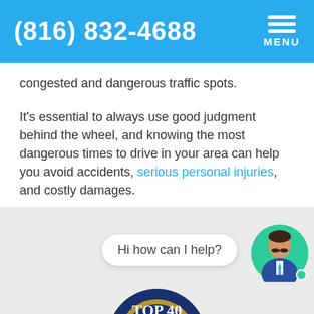(816) 832-4688 MENU
congested and dangerous traffic spots.
It’s essential to always use good judgment behind the wheel, and knowing the most dangerous times to drive in your area can help you avoid accidents, serious personal injuries, and costly damages.
[Figure (screenshot): Chat bubble saying 'Hi how can I help?' with a male avatar icon in a green circle, and a partial Top 40 Under 40 badge at the bottom]